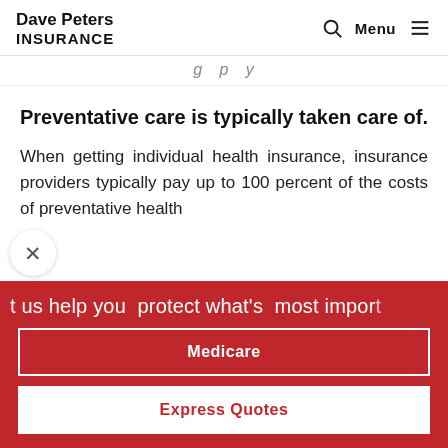Dave Peters INSURANCE
g p y
Preventative care is typically taken care of.
When getting individual health insurance, insurance providers typically pay up to 100 percent of the costs of preventative health
t us help you protect what's most impor
Medicare
Express Quotes